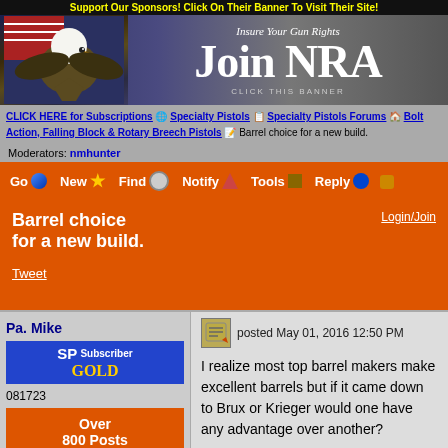Support Our Sponsors! Click On Their Banner To Visit Their Site!
[Figure (photo): NRA Join banner with bald eagle and American flag background. Text: 'Insure Your Gun Rights', 'Join NRA', 'CLICK THIS BANNER']
CLICK HERE for Subscriptions | Specialty Pistols | Specialty Pistols Forums | Bolt Action, Falling Block & Rotary Breech Pistols | Barrel choice for a new build.
Moderators: nmhunter
Go | New | Find | Notify | Tools | Reply
Barrel choice for a new build.
Login/Join
Tweet
Pa. Mike
posted May 01, 2016 12:50 PM
SP Subscriber GOLD
081723
Over 800 Posts
I realize most top barrel makers make excellent barrels but if it came down to Brux or Krieger would one have any advantage over another?